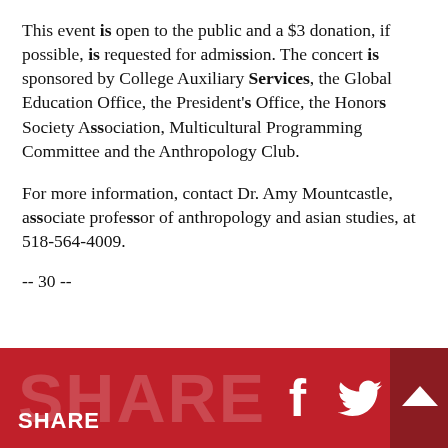This event is open to the public and a $3 donation, if possible, is requested for admission. The concert is sponsored by College Auxiliary Services, the Global Education Office, the President's Office, the Honors Society Association, Multicultural Programming Committee and the Anthropology Club.
For more information, contact Dr. Amy Mountcastle, associate professor of anthropology and asian studies, at 518-564-4009.
-- 30 --
[Figure (other): Red footer bar with 'SHARE' text (large faded background and smaller bold foreground label), Facebook 'f' icon, Twitter bird icon, and a darker red box with an upward arrow on the right.]